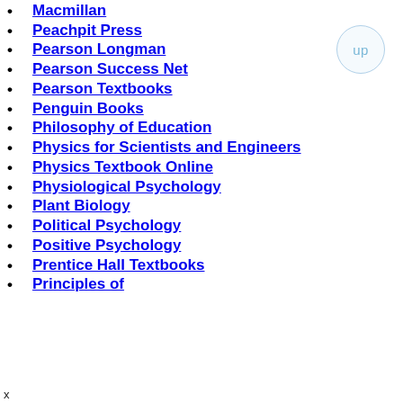Macmillan
Peachpit Press
Pearson Longman
Pearson Success Net
Pearson Textbooks
Penguin Books
Philosophy of Education
Physics for Scientists and Engineers
Physics Textbook Online
Physiological Psychology
Plant Biology
Political Psychology
Positive Psychology
Prentice Hall Textbooks
Principles of